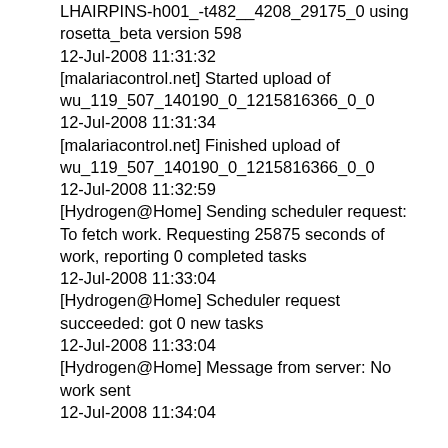LHAIRPINS-h001_-t482__4208_29175_0 using rosetta_beta version 598
12-Jul-2008 11:31:32
[malariacontrol.net] Started upload of wu_119_507_140190_0_1215816366_0_0
12-Jul-2008 11:31:34
[malariacontrol.net] Finished upload of wu_119_507_140190_0_1215816366_0_0
12-Jul-2008 11:32:59
[Hydrogen@Home] Sending scheduler request: To fetch work. Requesting 25875 seconds of work, reporting 0 completed tasks
12-Jul-2008 11:33:04
[Hydrogen@Home] Scheduler request succeeded: got 0 new tasks
12-Jul-2008 11:33:04
[Hydrogen@Home] Message from server: No work sent
12-Jul-2008 11:34:04